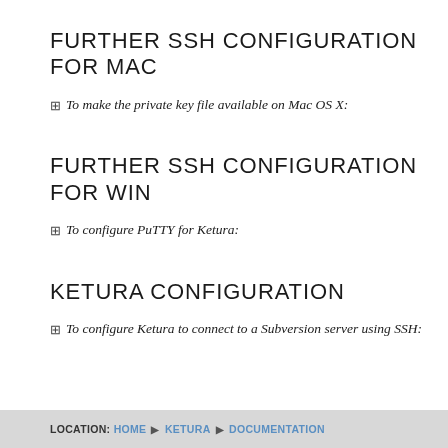FURTHER SSH CONFIGURATION FOR MAC
To make the private key file available on Mac OS X:
FURTHER SSH CONFIGURATION FOR WIN
To configure PuTTY for Ketura:
KETURA CONFIGURATION
To configure Ketura to connect to a Subversion server using SSH:
LOCATION: HOME ▶ KETURA ▶ DOCUMENTATION